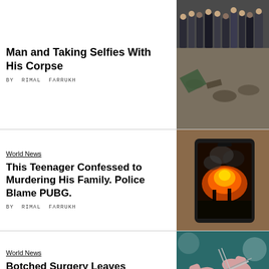Man and Taking Selfies With His Corpse
BY RIMAL FARRUKH
[Figure (photo): Crowd scene with military/police presence on a street with debris]
World News
This Teenager Confessed to Murdering His Family. Police Blame PUBG.
BY RIMAL FARRUKH
[Figure (photo): Hand holding a smartphone showing a PUBG game with fire/explosion scene]
World News
Botched Surgery Leaves Stillborn Baby's Head Inside Mother's Uterus
BY RIMAL FARRUKH
[Figure (photo): Close-up of surgeons performing an operation with surgical tools]